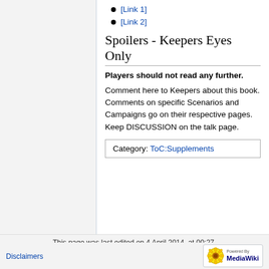[Link 1]
[Link 2]
Spoilers - Keepers Eyes Only
Players should not read any further.
Comment here to Keepers about this book. Comments on specific Scenarios and Campaigns go on their respective pages. Keep DISCUSSION on the talk page.
Category:  ToC:Supplements
This page was last edited on 4 April 2014, at 00:27.
Privacy policy   About [YSDC] The Veiled Society
Disclaimers